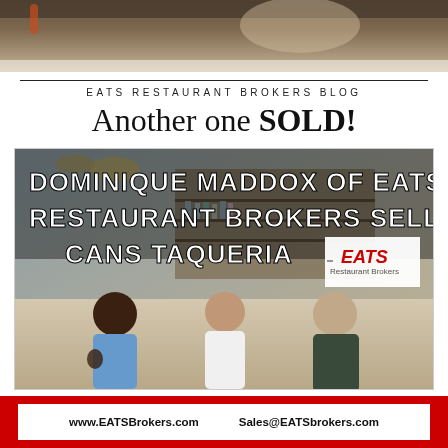[Figure (photo): Top banner photo of restaurant interior, dark/moody ceiling with equipment]
EATS RESTAURANT BROKERS BLOG
Another one SOLD!
[Figure (photo): Photo of three people standing in front of a bar inside a restaurant. Bold white text overlaid reads: DOMINIQUE MADDOX OF EATS RESTAURANT BROKERS SELLS CANS TAQUERIA. EATS Restaurant Brokers logo in white box at right.]
www.EATSBrokers.com    Sales@EATSbrokers.com